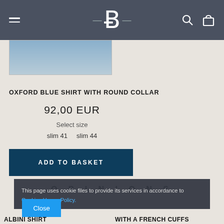— P — [navigation header with hamburger menu, logo, search and basket icons]
[Figure (photo): Partial view of a blue Oxford shirt product photo]
OXFORD BLUE SHIRT WITH ROUND COLLAR
92,00 EUR
Select size
slim 41    slim 44
ADD TO BASKET
O P I N I O N S
This page uses cookie files to provide its services in accordance to Cookies Usage Policy.
Close
ALBINI SHIRT
WHITE PIN OCEAN SHIRT WITH A FRENCH CUFFS